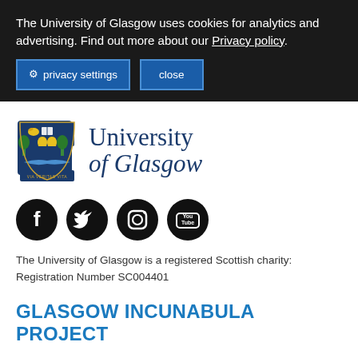The University of Glasgow uses cookies for analytics and advertising. Find out more about our Privacy policy.
privacy settings   close
[Figure (logo): University of Glasgow coat of arms and wordmark logo]
[Figure (infographic): Social media icons: Facebook, Twitter, Instagram, YouTube]
The University of Glasgow is a registered Scottish charity: Registration Number SC004401
GLASGOW INCUNABULA PROJECT